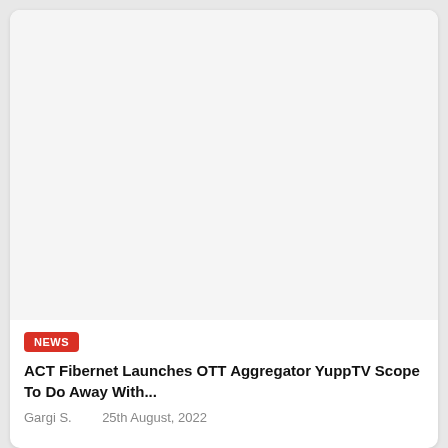[Figure (photo): Large image placeholder area (white/light gray rectangle) for article thumbnail]
NEWS
ACT Fibernet Launches OTT Aggregator YuppTV Scope To Do Away With...
Gargi S.    25th August, 2022